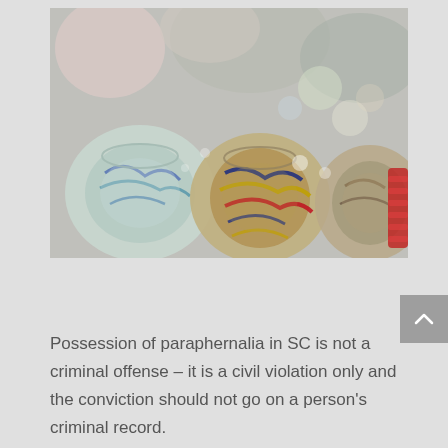[Figure (photo): Close-up photograph of colorful glass pipes/paraphernalia items, blurred bokeh background with blues, reds, and yellows visible on the glass pieces.]
Possession of paraphernalia in SC is not a criminal offense – it is a civil violation only and the conviction should not go on a person's criminal record.